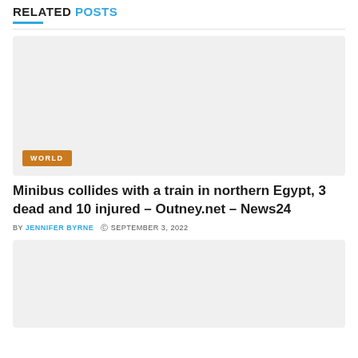Related Posts
[Figure (photo): Large placeholder image with a WORLD category badge in the bottom left corner]
Minibus collides with a train in northern Egypt, 3 dead and 10 injured – Outney.net – News24
BY JENNIFER BYRNE  © SEPTEMBER 3, 2022
[Figure (photo): Second placeholder image below the article metadata]